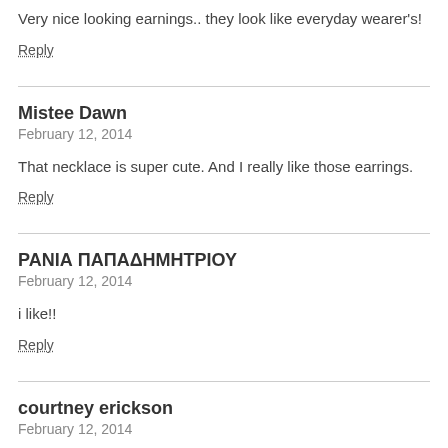Very nice looking earnings.. they look like everyday wearer's!
Reply
Mistee Dawn
February 12, 2014
That necklace is super cute. And I really like those earrings.
Reply
ΡΑΝΙΑ ΠΑΠΑΔΗΜΗΤΡΙΟΥ
February 12, 2014
i like!!
Reply
courtney erickson
February 12, 2014